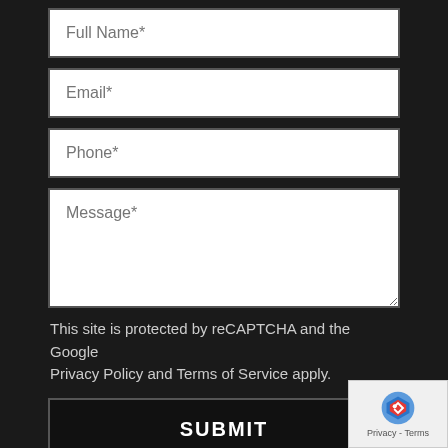[Figure (screenshot): Web contact form on dark background with fields: Full Name*, Email*, Phone*, Message*, reCAPTCHA notice, SUBMIT button, and reCAPTCHA badge]
Full Name*
Email*
Phone*
Message*
This site is protected by reCAPTCHA and the Google Privacy Policy and Terms of Service apply.
SUBMIT